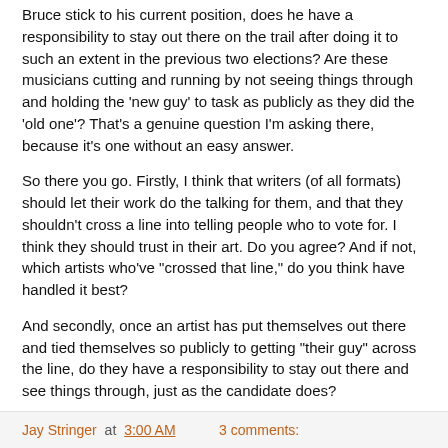Bruce stick to his current position, does he have a responsibility to stay out there on the trail after doing it to such an extent in the previous two elections? Are these musicians cutting and running by not seeing things through and holding the 'new guy' to task as publicly as they did the 'old one'? That's a genuine question I'm asking there, because it's one without an easy answer.
So there you go. Firstly, I think that writers (of all formats) should let their work do the talking for them, and that they shouldn't cross a line into telling people who to vote for. I think they should trust in their art. Do you agree? And if not, which artists who've "crossed that line," do you think have handled it best?
And secondly, once an artist has put themselves out there and tied themselves so publicly to getting "their guy" across the line, do they have a responsibility to stay out there and see things through, just as the candidate does?
Jay Stringer at 3:00 AM    3 comments: